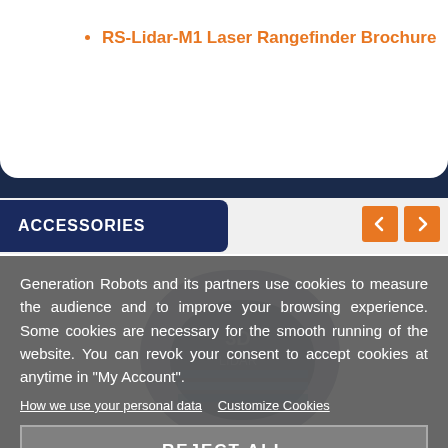RS-Lidar-M1 Laser Rangefinder Brochure
ACCESSORIES
Generation Robots and its partners use cookies to measure the audience and to improve your browsing experience. Some cookies are necessary for the smooth running of the website. You can revok your consent to accept cookies at anytime in "My Account".
How we use your personal data   Customize Cookies
REJECT ALL
I ACCEPT